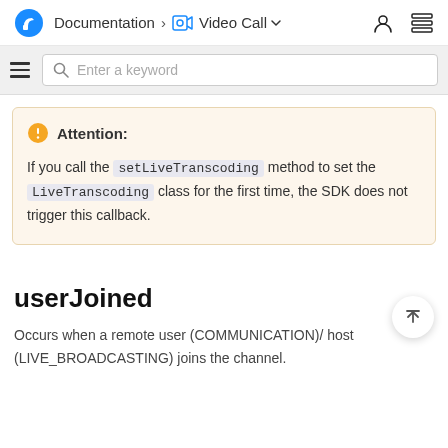Documentation > Video Call
Enter a keyword
Attention: If you call the setLiveTranscoding method to set the LiveTranscoding class for the first time, the SDK does not trigger this callback.
userJoined
Occurs when a remote user (COMMUNICATION)/ host (LIVE_BROADCASTING) joins the channel.